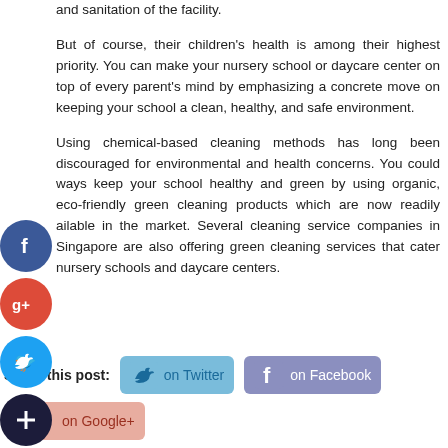and sanitation of the facility.
But of course, their children's health is among their highest priority. You can make your nursery school or daycare center on top of every parent's mind by emphasizing a concrete move on keeping your school a clean, healthy, and safe environment.
Using chemical-based cleaning methods has long been discouraged for environmental and health concerns. You could ways keep your school healthy and green by using organic, eco-friendly green cleaning products which are now readily ailable in the market. Several cleaning service companies in Singapore are also offering green cleaning services that cater nursery schools and daycare centers.
Share this post:  on Twitter  on Facebook  on Google+